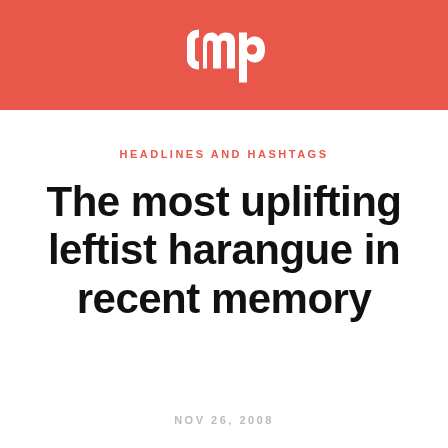[Figure (logo): CMP logo in white on coral/red background header bar]
HEADLINES AND HASHTAGS
The most uplifting leftist harangue in recent memory
NOV 26, 2008